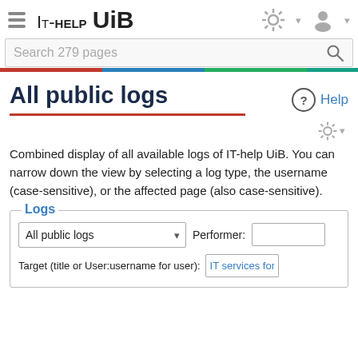IT-help UiB
Search 279 pages
All public logs
Help
Combined display of all available logs of IT-help UiB. You can narrow down the view by selecting a log type, the username (case-sensitive), or the affected page (also case-sensitive).
Logs
All public logs
Performer:
Target (title or User:username for user):
IT services for visi